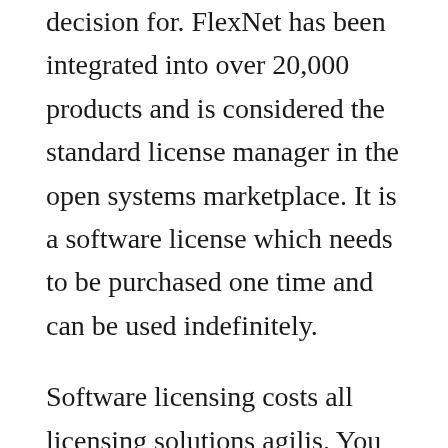decision for. FlexNet has been integrated into over 20,000 products and is considered the standard license manager in the open systems marketplace. It is a software license which needs to be purchased one time and can be used indefinitely.
Software licensing costs all licensing solutions agilis. You pay for the license when you license the software. Ptc software products licensing basis scope of this document this document sets out the licensing basis and restrictions for each of ptcs licensed products. Licensing details are available here